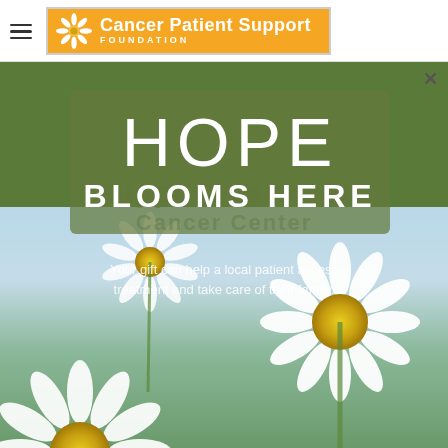[Figure (logo): Cancer Patient Support Foundation logo: orange/yellow rectangle with white daisy flower icon and bold white text 'Cancer Patient Support FOUNDATION']
[Figure (illustration): Promotional image overlay: green-toned background with daisy flowers (white petals, yellow centers), a semi-transparent olive-green box with large white text reading 'HOPE' and below it 'BLOOMS HERE'. Behind the overlay, ghost text reads 'Support Vermont Cancer Center'. Below the box text reads 'Your gift can help a local patient access treatment and take care of their family.' Close X button in top right corner.]